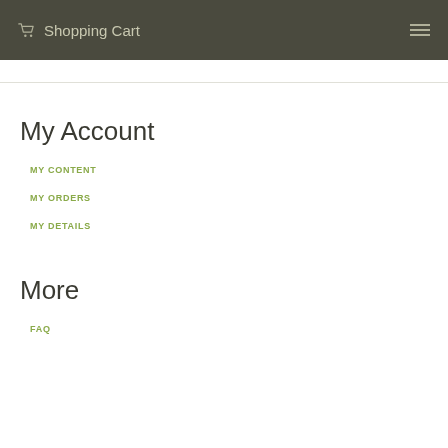Shopping Cart
My Account
MY CONTENT
MY ORDERS
MY DETAILS
More
FAQ